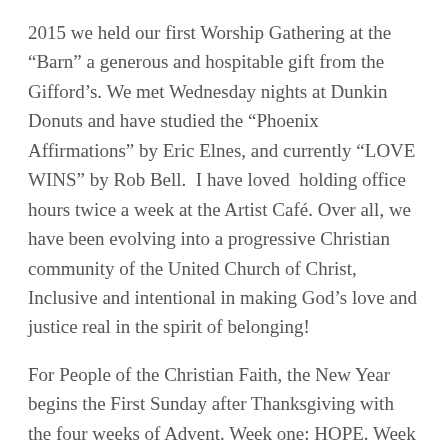2015 we held our first Worship Gathering at the “Barn” a generous and hospitable gift from the Gifford’s. We met Wednesday nights at Dunkin Donuts and have studied the “Phoenix Affirmations” by Eric Elnes, and currently “LOVE WINS” by Rob Bell.  I have loved  holding office hours twice a week at the Artist Café. Over all, we have been evolving into a progressive Christian community of the United Church of Christ, Inclusive and intentional in making God’s love and justice real in the spirit of belonging!
For People of the Christian Faith, the New Year begins the First Sunday after Thanksgiving with the four weeks of Advent. Week one: HOPE. Week Two: PEACE, Week: Three JOY and Week Four: LOVE.( You can read  those blogs  here)  the focus of each week helps us